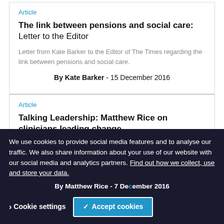Article
The link between pensions and social care: Letter to the Editor
Letter from Kate Barker to the Editor of The Times regarding the link between pensions and social care.
By Kate Barker - 15 December 2016
Article
Talking Leadership: Matthew Rice on clinicians leading change
We use cookies to provide social media features and to analyse our traffic. We also share information about your use of our website with our social media and analytics partners. Find out how we collect, use and store your data.
By Matthew Rice - 7 December 2016
Cookie settings
✓ Accept cookies